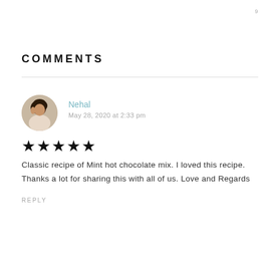9
COMMENTS
Nehal
May 28, 2020 at 2:33 pm
★★★★★
Classic recipe of Mint hot chocolate mix. I loved this recipe. Thanks a lot for sharing this with all of us. Love and Regards
REPLY